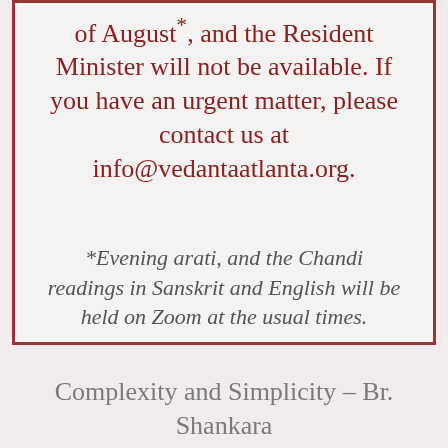of August*, and the Resident Minister will not be available. If you have an urgent matter, please contact us at info@vedantaatlanta.org.
*Evening arati, and the Chandi readings in Sanskrit and English will be held on Zoom at the usual times.
Complexity and Simplicity – Br. Shankara